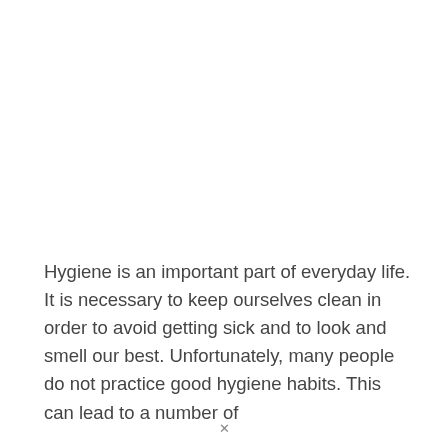Hygiene is an important part of everyday life. It is necessary to keep ourselves clean in order to avoid getting sick and to look and smell our best. Unfortunately, many people do not practice good hygiene habits. This can lead to a number of